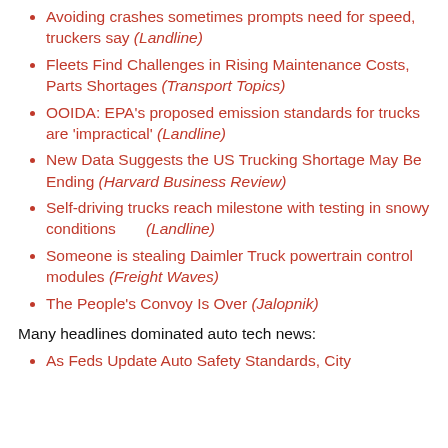Avoiding crashes sometimes prompts need for speed, truckers say (Landline)
Fleets Find Challenges in Rising Maintenance Costs, Parts Shortages (Transport Topics)
OOIDA: EPA's proposed emission standards for trucks are 'impractical' (Landline)
New Data Suggests the US Trucking Shortage May Be Ending (Harvard Business Review)
Self-driving trucks reach milestone with testing in snowy conditions (Landline)
Someone is stealing Daimler Truck powertrain control modules (Freight Waves)
The People's Convoy Is Over (Jalopnik)
Many headlines dominated auto tech news:
As Feds Update Auto Safety Standards, City...